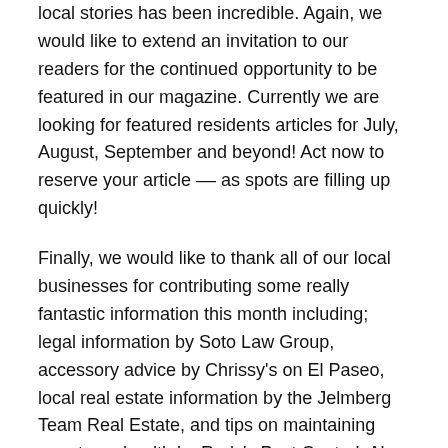local stories has been incredible. Again, we would like to extend an invitation to our readers for the continued opportunity to be featured in our magazine. Currently we are looking for featured residents articles for July, August, September and beyond! Act now to reserve your article -- as spots are filling up quickly!
Finally, we would like to thank all of our local businesses for contributing some really fantastic information this month including; legal information by Soto Law Group, accessory advice by Chrissy's on El Paseo, local real estate information by the Jelmberg Team Real Estate, and tips on maintaining your trees health by Rudy's Pest Control. Also, we would like to thank each and every one of the local businesses that continue to support our community publication on a monthly and annual basis. Your plucky resolve is what keeps our local economy strong.